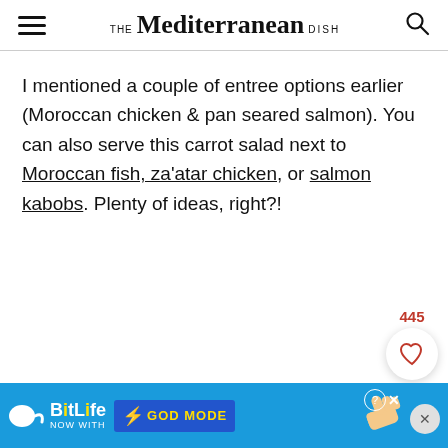THE Mediterranean DISH
I mentioned a couple of entree options earlier (Moroccan chicken & pan seared salmon). You can also serve this carrot salad next to Moroccan fish, za'atar chicken, or salmon kabobs. Plenty of ideas, right?!
[Figure (other): BitLife ad banner at bottom: blue background with BitLife logo, 'NOW WITH GOD MODE' button, lightning bolt, hand pointing, and close buttons.]